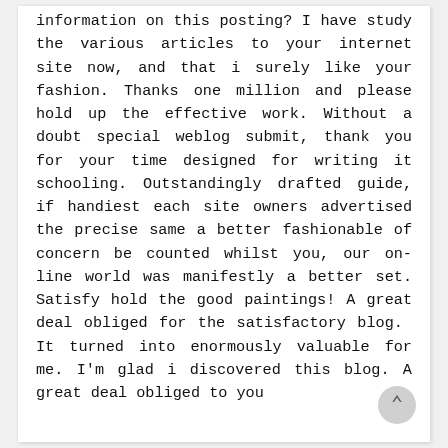information on this posting? I have study the various articles to your internet site now, and that i surely like your fashion. Thanks one million and please hold up the effective work. Without a doubt special weblog submit, thank you for your time designed for writing it schooling. Outstandingly drafted guide, if handiest each site owners advertised the precise same a better fashionable of concern be counted whilst you, our on-line world was manifestly a better set. Satisfy hold the good paintings! A great deal obliged for the satisfactory blog. It turned into enormously valuable for me. I'm glad i discovered this blog. A great deal obliged to you